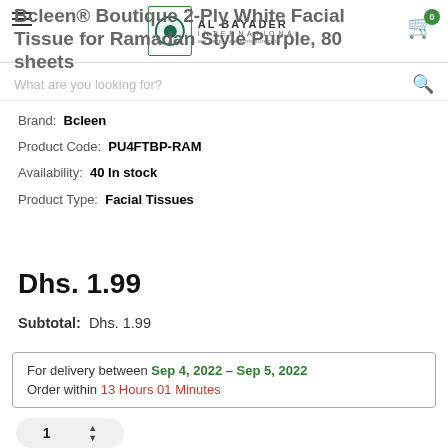Al Bayader International
Bcleen® Boutique 2-Ply White Facial Tissue for Ramadan Style Purple, 80 sheets
Brand: Bcleen
Product Code: PU4FTBP-RAM
Availability: 40 In stock
Product Type: Facial Tissues
Dhs. 1.99
Subtotal: Dhs. 1.99
For delivery between Sep 4, 2022 - Sep 5, 2022
Order within 13 Hours 01 Minutes